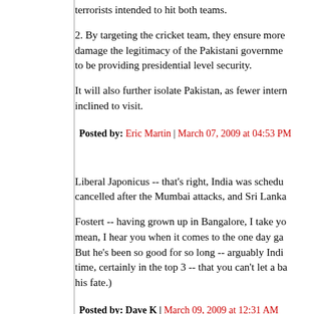terrorists intended to hit both teams.
2. By targeting the cricket team, they ensure more damage the legitimacy of the Pakistani government to be providing presidential level security.
It will also further isolate Pakistan, as fewer intern inclined to visit.
Posted by: Eric Martin | March 07, 2009 at 04:53 PM
Liberal Japonicus -- that's right, India was schedu cancelled after the Mumbai attacks, and Sri Lanka
Fostert -- having grown up in Bangalore, I take yo mean, I hear you when it comes to the one day ga But he's been so good for so long -- arguably Indi time, certainly in the top 3 -- that you can't let a ba his fate.)
Posted by: Dave K | March 09, 2009 at 12:31 AM
The comments to this entry are closed.